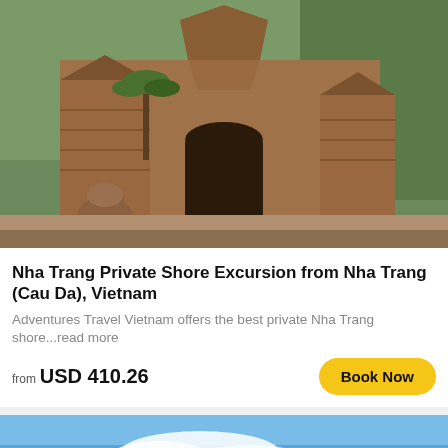[Figure (photo): Ancient Cham tower temple structure made of red brick with ornate carvings, surrounded by palm trees and greenery in Nha Trang, Vietnam]
Nha Trang Private Shore Excursion from Nha Trang (Cau Da), Vietnam
Adventures Travel Vietnam offers the best private Nha Trang shore...read more
from USD 410.26
[Figure (photo): Scenic coastal road winding through white sand dunes under a vivid blue sky with clouds, Mui Ne or similar Vietnam coastal landscape]